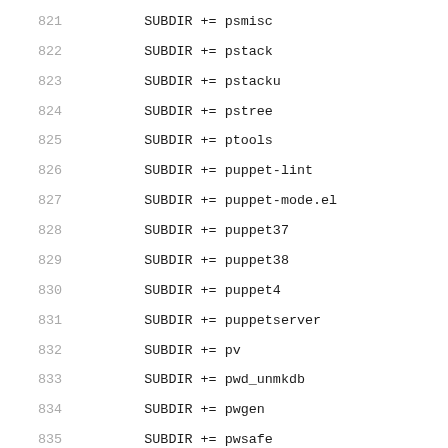821  SUBDIR += psmisc
822  SUBDIR += pstack
823  SUBDIR += pstacku
824  SUBDIR += pstree
825  SUBDIR += ptools
826  SUBDIR += puppet-lint
827  SUBDIR += puppet-mode.el
828  SUBDIR += puppet37
829  SUBDIR += puppet38
830  SUBDIR += puppet4
831  SUBDIR += puppetserver
832  SUBDIR += pv
833  SUBDIR += pwd_unmkdb
834  SUBDIR += pwgen
835  SUBDIR += pwsafe
836  SUBDIR += py-XenAPI
837  SUBDIR += py-analyzemft
838  SUBDIR += py-bcfg2
839  SUBDIR += py-cdmi
840  SUBDIR += py-croniter
841  SUBDIR += py-crontab
842  SUBDIR += py-danzfs
843  SUBDIR += py-diffoscope
844  SUBDIR += py-dirsync
845  SUBDIR += py-dlipower
846  SUBDIR += py-drmaa
847  SUBDIR += py-execnet
848  SUBDIR += py-ezjailremote
849  SUBDIR += py-filelike
850  SUBDIR += py-freenas.cli